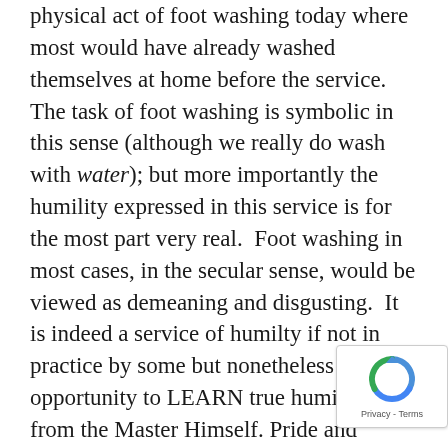I use the word symbolic in terms of the physical act of foot washing today where most would have already washed themselves at home before the service. The task of foot washing is symbolic in this sense (although we really do wash with water); but more importantly the humility expressed in this service is for the most part very real. Foot washing in most cases, in the secular sense, would be viewed as demeaning and disgusting. It is indeed a service of humilty if not in practice by some but nonetheless an opportunity to LEARN true humility from the Master Himself. Pride and arrogance and show have no place in this. To wash another's feet and to have one's feet washed really is a humbling act of service and Jesus is the Perfect example of this.

In most Adventist Churches there are